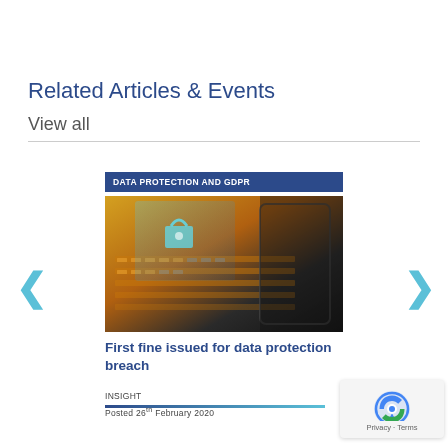Related Articles & Events
View all
[Figure (photo): Article card showing a glowing digital lock and keyboard image with 'DATA PROTECTION AND GDPR' label banner, titled 'First fine issued for data protection breach', tagged as INSIGHT, Posted 26th February 2020]
First fine issued for data protection breach
INSIGHT
Posted 26th February 2020